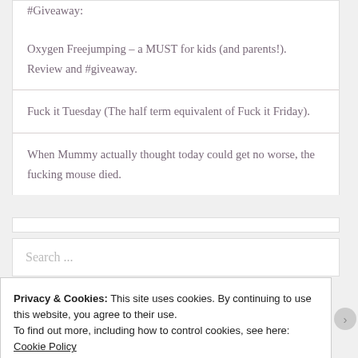#Giveaway:
Oxygen Freejumping – a MUST for kids (and parents!). Review and #giveaway.
Fuck it Tuesday (The half term equivalent of Fuck it Friday).
When Mummy actually thought today could get no worse, the fucking mouse died.
Search ...
Privacy & Cookies: This site uses cookies. By continuing to use this website, you agree to their use.
To find out more, including how to control cookies, see here: Cookie Policy
Close and accept